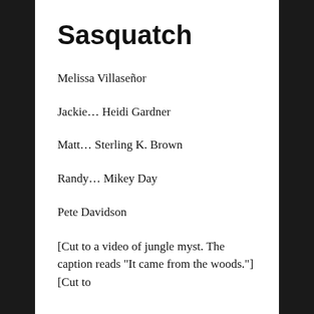Sasquatch
Melissa Villaseñor
Jackie… Heidi Gardner
Matt… Sterling K. Brown
Randy… Mikey Day
Pete Davidson
[Cut to a video of jungle myst. The caption reads “It came from the woods.”] [Cut to